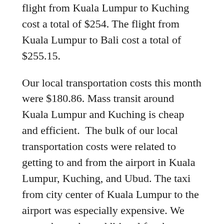flight from Kuala Lumpur to Kuching cost a total of $254. The flight from Kuala Lumpur to Bali cost a total of $255.15.
Our local transportation costs this month were $180.86. Mass transit around Kuala Lumpur and Kuching is cheap and efficient.  The bulk of our local transportation costs were related to getting to and from the airport in Kuala Lumpur, Kuching, and Ubud. The taxi from city center of Kuala Lumpur to the airport was especially expensive. We were charged an additional fee, because it was before 6 am. The taxi ride from the city center to the airport cost a total of $37.38. We would have taken mass transit to the airport, but unfortunately the train does not start running until 6 am.
Entertainment